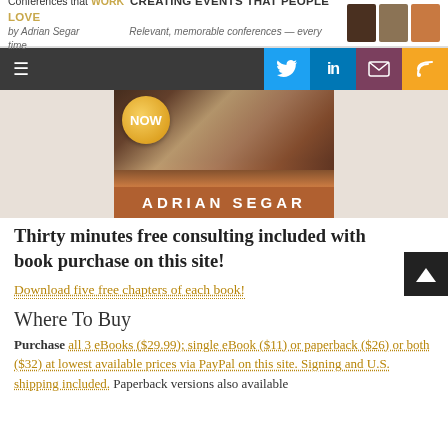Conferences that WORK — CREATING EVENTS THAT PEOPLE LOVE by Adrian Segar. Relevant, memorable conferences — every time
[Figure (screenshot): Navigation bar with hamburger menu icon on dark background, and social media buttons: Twitter (blue), LinkedIn (blue), Email (dark red), RSS (orange)]
[Figure (photo): Book cover image showing 'NOW' badge and author name ADRIAN SEGAR on orange/brown banner at bottom]
Thirty minutes free consulting included with book purchase on this site!
Download five free chapters of each book!
Where To Buy
Purchase all 3 eBooks ($29.99); single eBook ($11) or paperback ($26) or both ($32) at lowest available prices via PayPal on this site. Signing and U.S. shipping included. Paperback versions also available